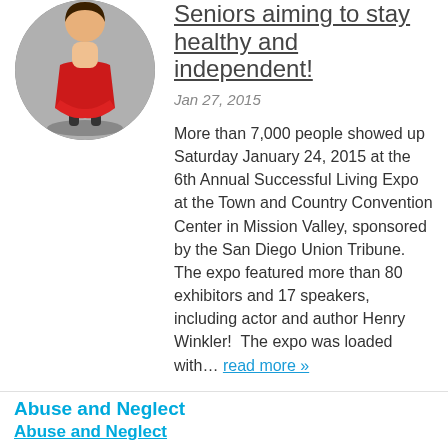[Figure (photo): Circular cropped photo of a person wearing a red dress, outdoors on a grey surface.]
Seniors aiming to stay healthy and independent!
Jan 27, 2015
More than 7,000 people showed up Saturday January 24, 2015 at the 6th Annual Successful Living Expo at the Town and Country Convention Center in Mission Valley, sponsored by the San Diego Union Tribune.  The expo featured more than 80 exhibitors and 17 speakers, including actor and author Henry Winkler!  The expo was loaded with… read more »
Abuse and Neglect
Abuse and Neglect